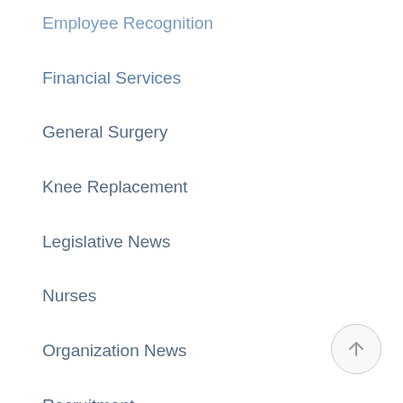Employee Recognition
Financial Services
General Surgery
Knee Replacement
Legislative News
Nurses
Organization News
Recruitment
Service News
Thank a Nurse/DAISY Award
Uncategorized
Vaccine